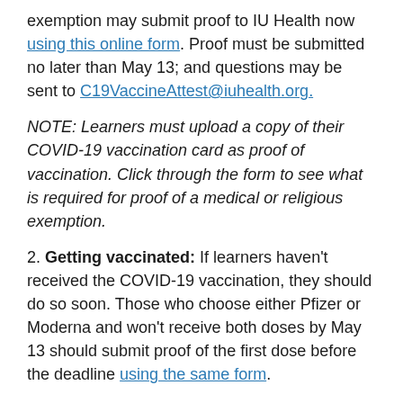exemption may submit proof to IU Health now using this online form. Proof must be submitted no later than May 13; and questions may be sent to C19VaccineAttest@iuhealth.org.
NOTE: Learners must upload a copy of their COVID-19 vaccination card as proof of vaccination. Click through the form to see what is required for proof of a medical or religious exemption.
2. Getting vaccinated: If learners haven't received the COVID-19 vaccination, they should do so soon. Those who choose either Pfizer or Moderna and won't receive both doses by May 13 should submit proof of the first dose before the deadline using the same form.